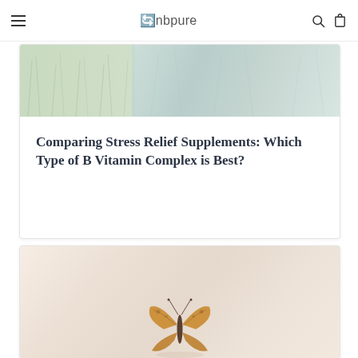cnbpure — navigation bar with hamburger menu, logo, search and bag icons
[Figure (photo): Top portion of an article card showing a muted green/grey field or grass background image, divided into two panels]
Comparing Stress Relief Supplements: Which Type of B Vitamin Complex is Best?
[Figure (photo): A butterfly on a light peachy-beige background, bottom of page]